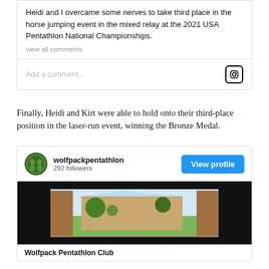Heidi and I overcame some nerves to take third place in the horse jumping event in the mixed relay at the 2021 USA Pentathlon National Championships.
view all comments
Add a comment...
Finally, Heidi and Kirt were able to hold onto their third-place position in the laser-run event, winning the Bronze Medal.
wolfpackpentathlon
292 followers
[Figure (photo): Social media post image showing an outdoor scene with trees and buildings, displayed on a dark background]
Wolfpack Pentathlon Club